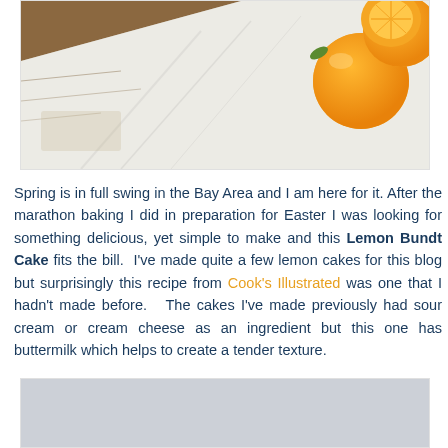[Figure (photo): Overhead photo of oranges/lemons on a white cloth on a wooden surface. Shows halved and whole citrus fruits arranged on white linen.]
Spring is in full swing in the Bay Area and I am here for it. After the marathon baking I did in preparation for Easter I was looking for something delicious, yet simple to make and this Lemon Bundt Cake fits the bill. I've made quite a few lemon cakes for this blog but surprisingly this recipe from Cook's Illustrated was one that I hadn't made before. The cakes I've made previously had sour cream or cream cheese as an ingredient but this one has buttermilk which helps to create a tender texture.
[Figure (photo): Partially visible photo at bottom of page, appears to be a light grey/silver background, likely another food photo.]